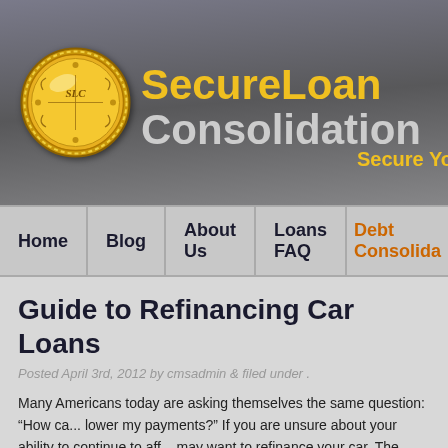SecureLoan Consolidation - Secure Yo...
Home | Blog | About Us | Loans FAQ | Debt Consolida...
Guide to Refinancing Car Loans
Posted April 3rd, 2012 by cmsadmin & filed under .
Many Americans today are asking themselves the same question: “How ca... lower my payments?” If you are unsure about your ability to continue to aff... may want to refinance your car. The following will help you decide whether... you, and what steps you must take to obtain a loan.
Click here to lower your car payments by up to $100/month!
Why Refinance?
When a borrower initially purchases his or her automobile, a loan is usually... the full cost of the car. The loan is then repaid with interest over a certain...